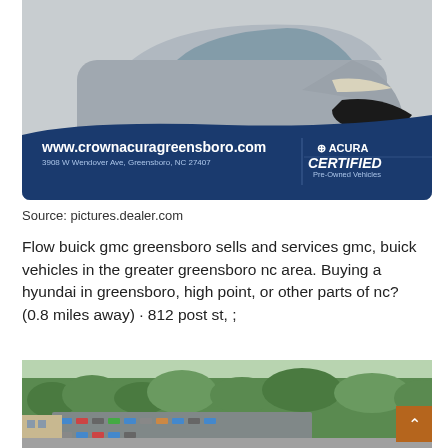[Figure (photo): Acura SUV advertisement showing a silver/gray Acura crossover SUV on a dark background with blue curved band at the bottom showing www.crownacuragreensboro.com, 3908 W Wendover Ave, Greensboro, NC 27407, and Acura Certified Pre-Owned Vehicles badge]
Source: pictures.dealer.com
Flow buick gmc greensboro sells and services gmc, buick vehicles in the greater greensboro nc area. Buying a hyundai in greensboro, high point, or other parts of nc? (0.8 miles away) · 812 post st, ;
[Figure (photo): Aerial/overhead photo of a car dealership lot with many vehicles parked and green trees surrounding the property]